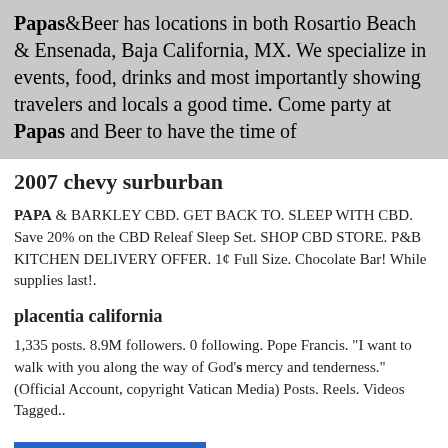Papas&Beer has locations in both Rosartio Beach & Ensenada, Baja California, MX. We specialize in events, food, drinks and most importantly showing travelers and locals a good time. Come party at Papas and Beer to have the time of your life...
2007 chevy surburban
PAPA & BARKLEY CBD. GET BACK TO. SLEEP WITH CBD. Save 20% on the CBD Releaf Sleep Set. SHOP CBD STORE. P&B KITCHEN DELIVERY OFFER. 1¢ Full Size. Chocolate Bar! While supplies last!.
placentia california
1,335 posts. 8.9M followers. 0 following. Pope Francis. "I want to walk with you along the way of God's mercy and tenderness." (Official Account, copyright Vatican Media) Posts. Reels. Videos Tagged..
I  Accept
Show Purposes